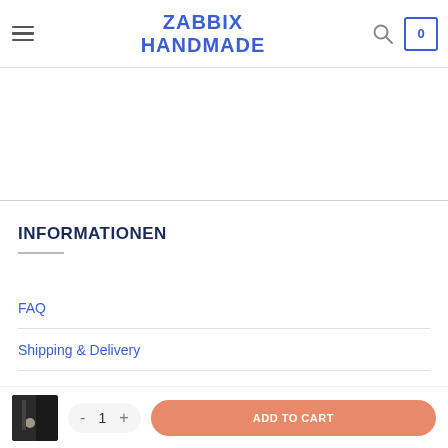ZABBIX HANDMADE
INFORMATIONEN
FAQ
Shipping & Delivery
Contact
My acco...
[Figure (screenshot): Bottom bar with product thumbnail, quantity selector (-/1/+), and ADD TO CART button]